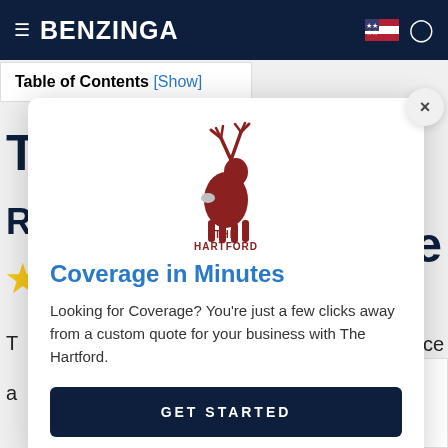BENZINGA
Table of Contents [Show]
[Figure (other): The Hartford advertisement modal with deer logo, 'Coverage in Minutes' headline, descriptive text, and GET STARTED button]
Coverage in Minutes
Looking for Coverage? You're just a few clicks away from a custom quote for your business with The Hartford.
GET STARTED
HARTFORD
Star rating display